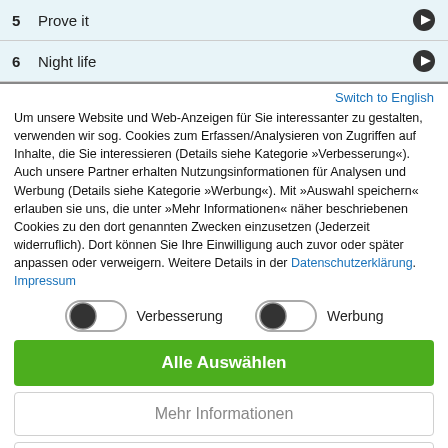5  Prove it
6  Night life
Switch to English
Um unsere Website und Web-Anzeigen für Sie interessanter zu gestalten, verwenden wir sog. Cookies zum Erfassen/Analysieren von Zugriffen auf Inhalte, die Sie interessieren (Details siehe Kategorie »Verbesserung«). Auch unsere Partner erhalten Nutzungsinformationen für Analysen und Werbung (Details siehe Kategorie »Werbung«). Mit »Auswahl speichern« erlauben sie uns, die unter »Mehr Informationen« näher beschriebenen Cookies zu den dort genannten Zwecken einzusetzen (Jederzeit widerruflich). Dort können Sie Ihre Einwilligung auch zuvor oder später anpassen oder verweigern. Weitere Details in der Datenschutzerklärung. Impressum
[Figure (other): Two toggle switches: left toggle labeled Verbesserung (on/dark), right toggle labeled Werbung (on/dark)]
Alle Auswählen
Mehr Informationen
Nur notwendige Cookies